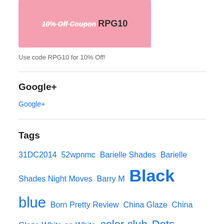[Figure (other): Pink coupon banner with white italic strikethrough text '10% Off Coupon' and dark text 'RPG10']
Use code RPG10 for 10% Off!
Google+
Google+
Tags
31DC2014 52wpnmc Barielle Shades Barielle Shades Night Moves Barry M Black blue Born Pretty Review China Glaze China Glaze White on White color club Dots Dotting Tool Filthy Gorgeous Twilight Glitter GOT Polish Challenge gradient Green grey Halloween Holographic iridescent Konad special polish